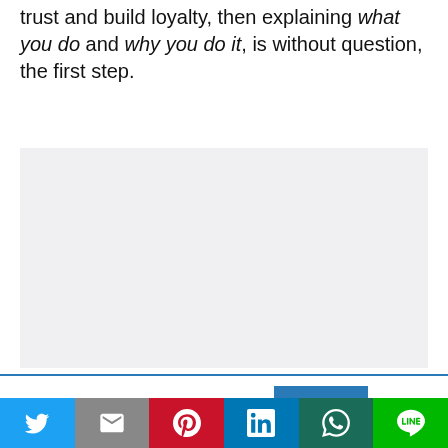The key is to be transparent. If you want to earn trust and build loyalty, then explaining what you do and why you do it, is without question, the first step.
[Figure (other): Light gray placeholder box representing an embedded content or advertisement area]
This website uses cookies. [Accept button]
[Figure (infographic): Social share bar with six buttons: Twitter (blue), Gmail (gray), Pinterest (red), LinkedIn (blue), WhatsApp (dark teal), Line (green)]